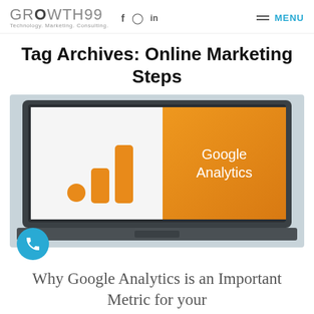GROWTH99 Technology. Marketing. Consulting. f in MENU
Tag Archives: Online Marketing Steps
[Figure (screenshot): Laptop showing Google Analytics logo (orange bar chart icon) and 'Google Analytics' text on orange background]
Why Google Analytics is an Important Metric for your